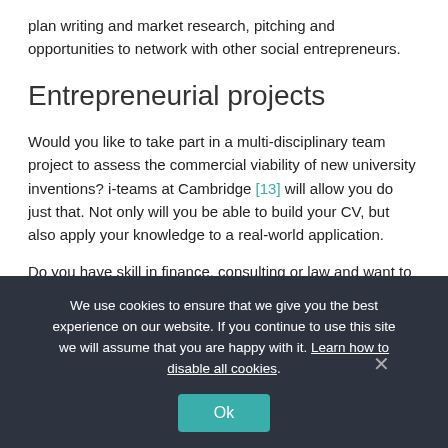plan writing and market research, pitching and opportunities to network with other social entrepreneurs.
Entrepreneurial projects
Would you like to take part in a multi-disciplinary team project to assess the commercial viability of new university inventions? i-teams at Cambridge [13] will allow you do just that. Not only will you be able to build your CV, but also apply your knowledge to a real-world application.
Do you have skill in finance, consulting or law and want to apply it to a social enterprise and help them succeed? If so, then Bridges for Enterprises [14] is the place for you to start, as well as directly...
We use cookies to ensure that we give you the best experience on our website. If you continue to use this site we will assume that you are happy with it. Learn how to disable all cookies.